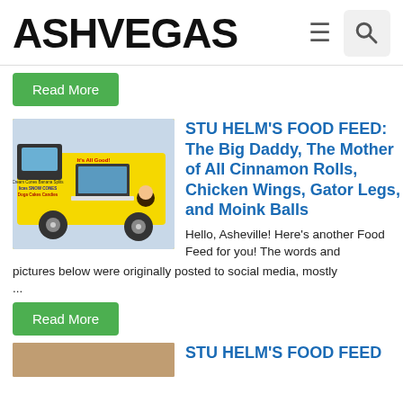ASHVEGAS
Read More
[Figure (photo): Yellow food truck with cartoon characters and text advertising ice cream, banana splits, shaved ices, doga cakes, candies]
STU HELM'S FOOD FEED: The Big Daddy, The Mother of All Cinnamon Rolls, Chicken Wings, Gator Legs, and Moink Balls
Hello, Asheville! Here's another Food Feed for you! The words and pictures below were originally posted to social media, mostly ...
Read More
[Figure (photo): Partial bottom image cropped]
STU HELM'S FOOD FEED